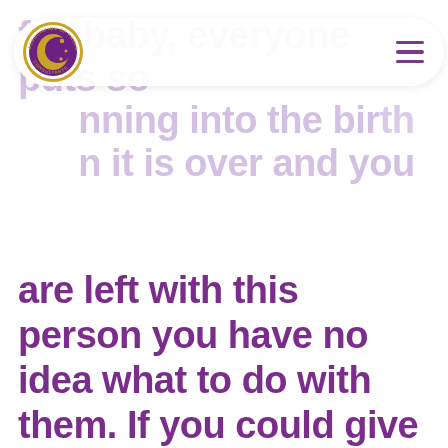for a baby, everyone puts so much planning into the birth and then it is over and you are left with this person you have no idea what to do with them. If you could give expecting parents one piece of advice about sleep, what would it be?
[Figure (logo): Association of Professional Sleep Consultants circular logo with crescent moon and stars on purple background with gold border]
Oh how I wish more people understood and